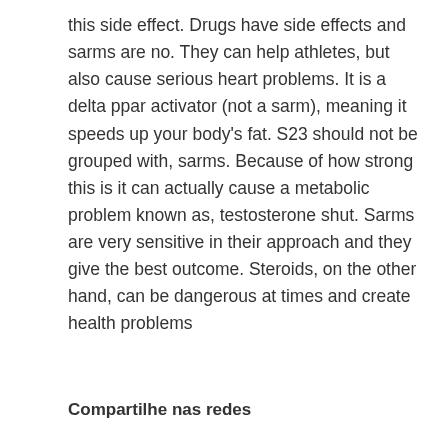this side effect. Drugs have side effects and sarms are no. They can help athletes, but also cause serious heart problems. It is a delta ppar activator (not a sarm), meaning it speeds up your body's fat. S23 should not be grouped with, sarms. Because of how strong this is it can actually cause a metabolic problem known as, testosterone shut. Sarms are very sensitive in their approach and they give the best outcome. Steroids, on the other hand, can be dangerous at times and create health problems
Compartilhe nas redes